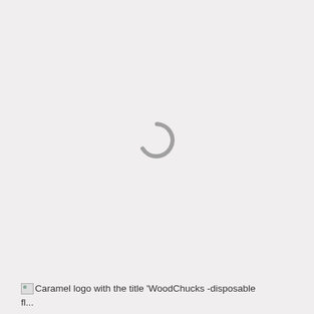[Figure (other): Loading spinner icon — a partial circle arc in gray, indicating a loading state on a light gray background]
Caramel logo with the title 'WoodChucks -disposable fl...